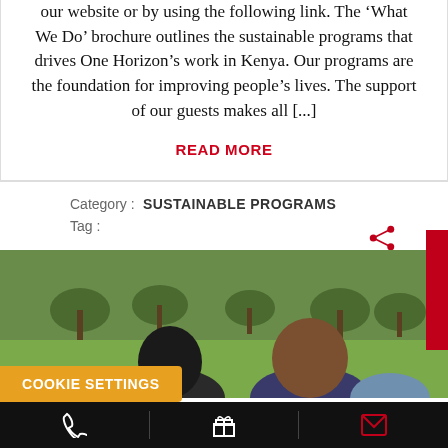our website or by using the following link.  The 'What We Do' brochure outlines the sustainable programs that drives One Horizon's work in Kenya.  Our programs are the foundation for improving people's lives.  The support of our guests makes all [...]
READ MORE
Category : SUSTAINABLE PROGRAMS
Tag :
[Figure (photo): Outdoor scene with people from behind in foreground, green grassy field and trees in background in Kenya]
COOKIE SETTINGS